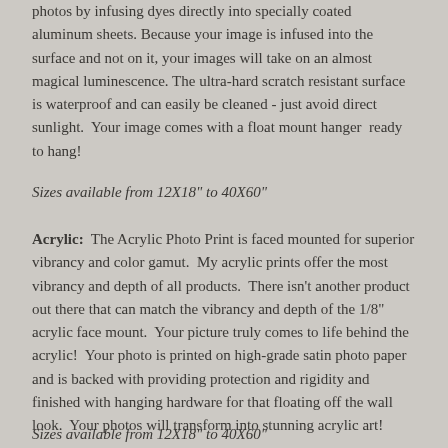photos by infusing dyes directly into specially coated aluminum sheets. Because your image is infused into the surface and not on it, your images will take on an almost magical luminescence. The ultra-hard scratch resistant surface is waterproof and can easily be cleaned - just avoid direct sunlight.  Your image comes with a float mount hanger  ready to hang!
Sizes available from 12X18" to 40X60"
Acrylic:  The Acrylic Photo Print is faced mounted for superior vibrancy and color gamut.  My acrylic prints offer the most vibrancy and depth of all products.  There isn't another product out there that can match the vibrancy and depth of the 1/8" acrylic face mount.  Your picture truly comes to life behind the acrylic!  Your photo is printed on high-grade satin photo paper and is backed with providing protection and rigidity and finished with hanging hardware for that floating off the wall look.  Your photos will transform into stunning acrylic art!
Sizes available from 12X18" to 40X60"